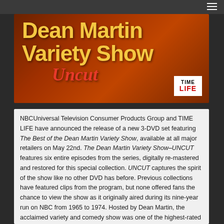[Figure (photo): DVD cover image for 'The Best of the Dean Martin Variety Show – Uncut'. Dark reddish-brown background with large bold yellow text reading 'Dean Martin Variety Show' and red italic cursive text 'Uncut'. TIME LIFE logo in white badge at bottom right.]
NBCUniversal Television Consumer Products Group and TIME LIFE have announced the release of a new 3-DVD set featuring The Best of the Dean Martin Variety Show, available at all major retailers on May 22nd. The Dean Martin Variety Show–UNCUT features six entire episodes from the series, digitally re-mastered and restored for this special collection. UNCUT captures the spirit of the show like no other DVD has before. Previous collections have featured clips from the program, but none offered fans the chance to view the show as it originally aired during its nine-year run on NBC from 1965 to 1974. Hosted by Dean Martin, the acclaimed variety and comedy show was one of the highest-rated in television history, garnering 12 Emmy nominations and a Golden Globe award (Dean Martin "Best Actor in a Comedy Television Series" 1967), and frequented by hundreds of guests from across the world of entertainment including legendary actors and